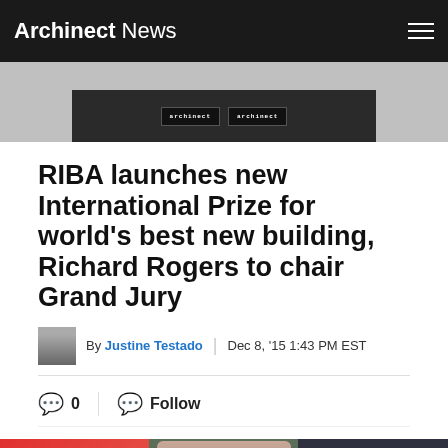Archinect News
[Figure (photo): Partial top image from previous article, showing signs/posters in black and white]
RIBA launches new International Prize for world's best new building, Richard Rogers to chair Grand Jury
By Justine Testado | Dec 8, '15 1:43 PM EST
0  Follow
[Figure (photo): Three people photographed side by side: left person in front of red background, middle person in front of grey-green background, right person in formal attire against dark background]